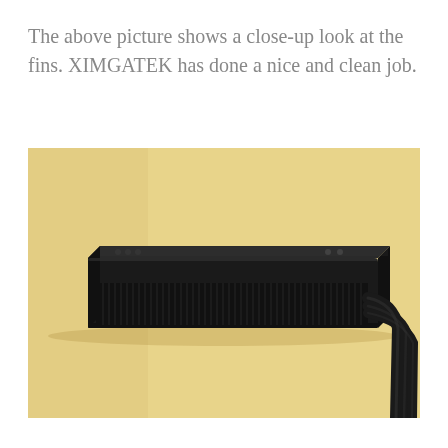The above picture shows a close-up look at the fins. XIMGATEK has done a nice and clean job.
[Figure (photo): A close-up photograph of a black radiator with fins, shown against a warm yellow/beige background wall. Dark tubes/cables hang from the right side of the radiator.]